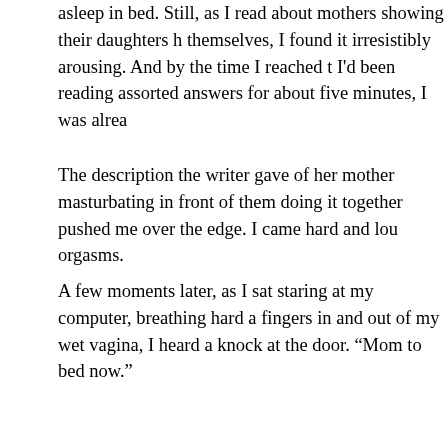asleep in bed. Still, as I read about mothers showing their daughters h themselves, I found it irresistibly arousing. And by the time I reached t I'd been reading assorted answers for about five minutes, I was alrea
The description the writer gave of her mother masturbating in front of them doing it together pushed me over the edge. I came hard and lou orgasms.
A few moments later, as I sat staring at my computer, breathing hard a fingers in and out of my wet vagina, I heard a knock at the door. “Mom to bed now.”
“Um — okay!” I hurriedly tried to button up my jeans, hoping she woul and discover what I’d been doing. My fingers were slippery with my ju with the buttons. “I’ll…I’ll…come in and kiss you goodnight… um, in a
“All right…” then, after a pause, “are you okay?”
“Yes, yes, I’m fine!” Still trying to catch my breath, I walked quickly to t trying to appear perfectly normal. I patted Amanda on the cheek. “You then I’ll come in and say goodnight.”
“Okay, but…” She cocked her head, looking at my reddened face. “Al